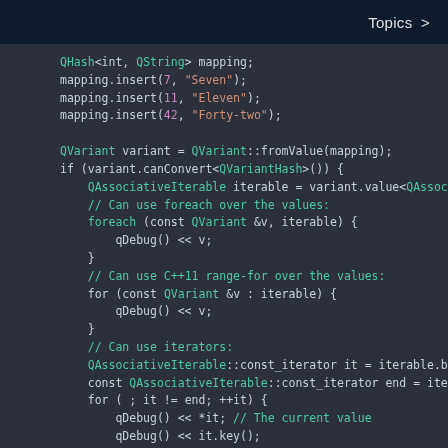Topics >
[Figure (screenshot): Code editor screenshot showing C++/Qt code demonstrating QHash iteration using QVariant and QAssociativeIterable, with syntax highlighting on dark background]